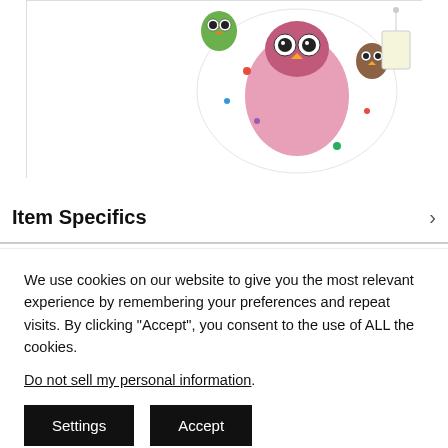[Figure (photo): Partial view of a children's cloth diaper or bag with colorful owl print pattern on white background, with a small tag visible.]
Item Specifics
We use cookies on our website to give you the most relevant experience by remembering your preferences and repeat visits. By clicking “Accept”, you consent to the use of ALL the cookies.
Do not sell my personal information.